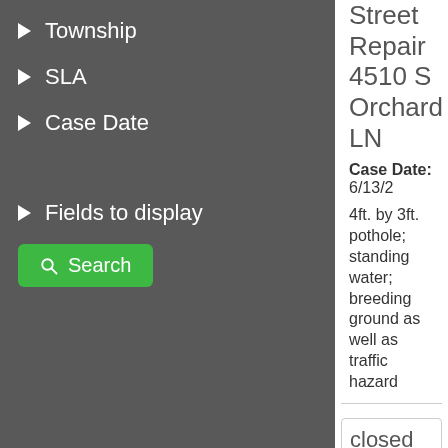Township
SLA
Case Date
Fields to display
Search
Street Repair 4510 S Orchard LN
Case Date: 6/13/2
4ft. by 3ft. pothole; standing water; breeding ground as well as traffic hazard
closed
#168932